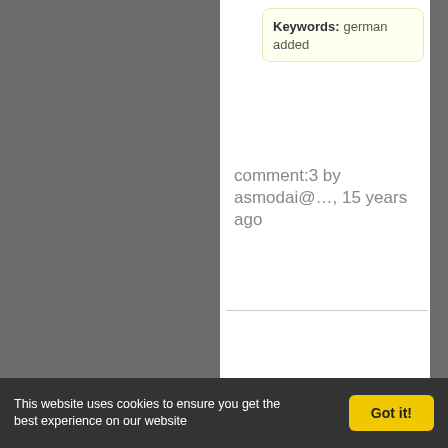Keywords: german added
comment:3 by asmodai@…, 15 years ago
Summary: Translation of Trac to German [de_DE] → Translation of Trac to German/Deutsch [de_DE]
comment:4 by Jeroen Ruigrok van der Werven, 15 years ago
This website uses cookies to ensure you get the best experience on our website